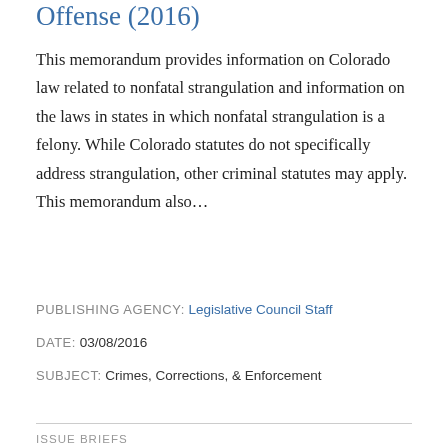Offense (2016)
This memorandum provides information on Colorado law related to nonfatal strangulation and information on the laws in states in which nonfatal strangulation is a felony. While Colorado statutes do not specifically address strangulation, other criminal statutes may apply. This memorandum also...
PUBLISHING AGENCY: Legislative Council Staff
DATE: 03/08/2016
SUBJECT: Crimes, Corrections, & Enforcement
ISSUE BRIEFS
Driving Under the Influence of Drugs or Alcohol (2016)